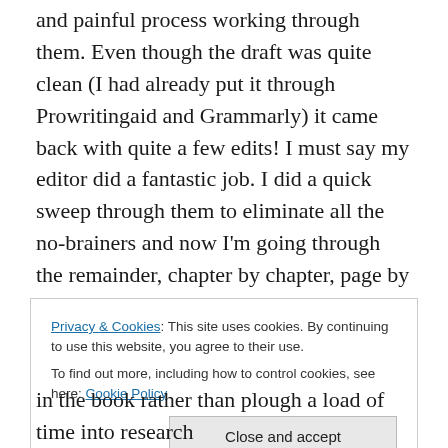and painful process working through them. Even though the draft was quite clean (I had already put it through Prowritingaid and Grammarly) it came back with quite a few edits! I must say my editor did a fantastic job. I did a quick sweep through them to eliminate all the no-brainers and now I'm going through the remainder, chapter by chapter, page by page, line by line, word by word. It's a painfully slow process, because there's no next draft (aside from a final typo hunt) so everything has to be just right.
Privacy & Cookies: This site uses cookies. By continuing to use this website, you agree to their use.
To find out more, including how to control cookies, see here: Cookie Policy
Close and accept
in the book rather than plough a load of time into research